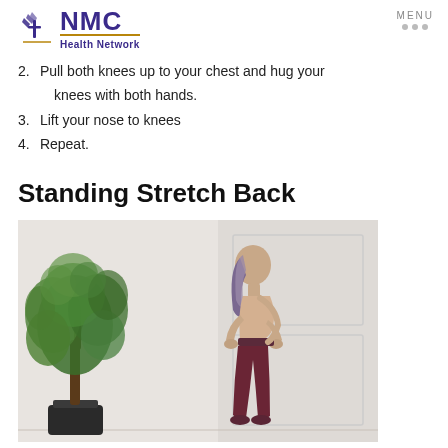NMC Health Network | MENU
2. Pull both knees up to your chest and hug your knees with both hands.
3. Lift your nose to knees
4. Repeat.
Standing Stretch Back
[Figure (photo): A woman in dark maroon/burgundy yoga pants and a crop top stands in profile view with her hands on her lower back, appearing to stretch. A large green leafy indoor plant (ficus) is to her left, and a white paneled door is in the background.]